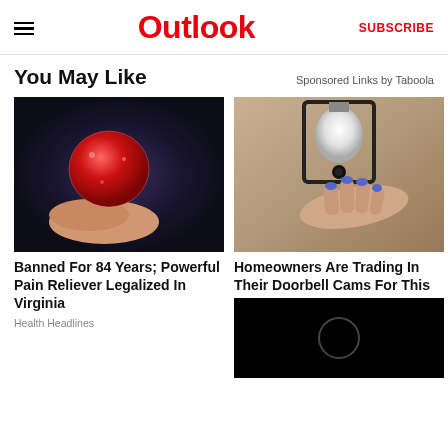Outlook  SUBSCRIBE
You May Like
Sponsored Links by Taboola
[Figure (photo): Close-up photo of a red sugary gummy candy held between fingers against a dark background]
Banned For 84 Years; Powerful Pain Reliever Legalized In Virginia
Health Headlines
[Figure (photo): Photo of a hand with blue nail polish touching an outdoor wall lantern with a light bulb]
Homeowners Are Trading In Their Doorbell Cams For This
[Figure (photo): Dark black background with a faint circular ring shape visible, resembling a solar eclipse or ring light]